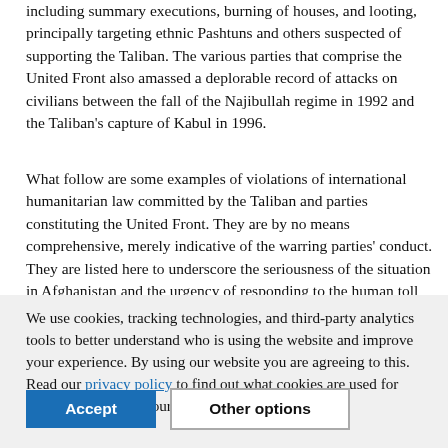including summary executions, burning of houses, and looting, principally targeting ethnic Pashtuns and others suspected of supporting the Taliban. The various parties that comprise the United Front also amassed a deplorable record of attacks on civilians between the fall of the Najibullah regime in 1992 and the Taliban's capture of Kabul in 1996.
What follow are some examples of violations of international humanitarian law committed by the Taliban and parties constituting the United Front. They are by no means comprehensive, merely indicative of the warring parties' conduct. They are listed here to underscore the seriousness of the situation in Afghanistan and the urgency of responding to the human toll of war. A note follows on human rights violations committed by the
We use cookies, tracking technologies, and third-party analytics tools to better understand who is using the website and improve your experience. By using our website you are agreeing to this. Read our privacy policy to find out what cookies are used for and how to change your settings.
Accept
Other options